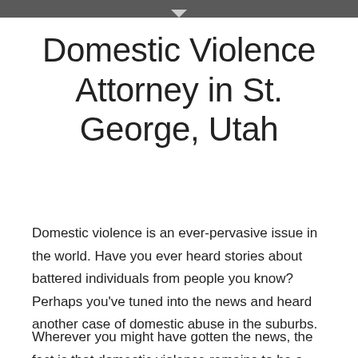Domestic Violence Attorney in St. George, Utah
Domestic violence is an ever-pervasive issue in the world. Have you ever heard stories about battered individuals from people you know? Perhaps you've tuned into the news and heard another case of domestic abuse in the suburbs.
Wherever you might have gotten the news, the fact is that domestic violence remains to be a tragic, violent